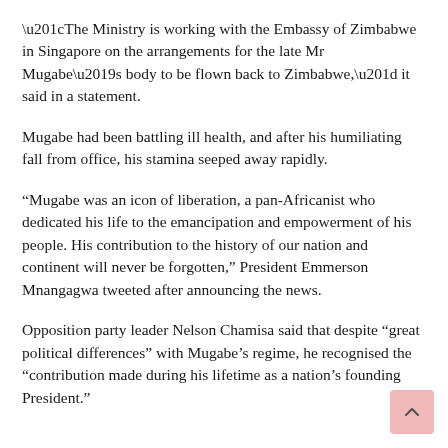“The Ministry is working with the Embassy of Zimbabwe in Singapore on the arrangements for the late Mr Mugabe’s body to be flown back to Zimbabwe,” it said in a statement.
Mugabe had been battling ill health, and after his humiliating fall from office, his stamina seeped away rapidly.
“Mugabe was an icon of liberation, a pan-Africanist who dedicated his life to the emancipation and empowerment of his people. His contribution to the history of our nation and continent will never be forgotten,” President Emmerson Mnangagwa tweeted after announcing the news.
Opposition party leader Nelson Chamisa said that despite “great political differences” with Mugabe’s regime, he recognised the “contribution made during his lifetime as a nation’s founding President.”